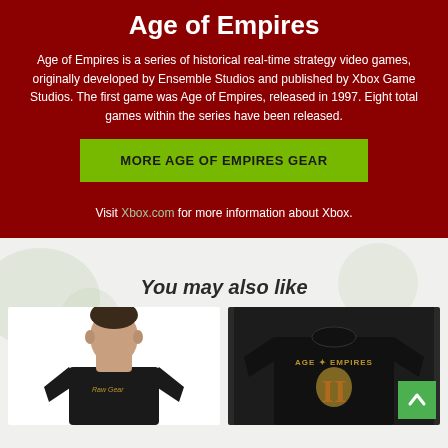Age of Empires
Age of Empires is a series of historical real-time strategy video games, originally developed by Ensemble Studios and published by Xbox Game Studios. The first game was Age of Empires, released in 1997. Eight total games within the series have been released.
MORE AGE OF EMPIRES GEAR
Visit Xbox.com for more information about Xbox.
You may also like
[Figure (photo): Person wearing a black t-shirt with small logo on the chest]
[Figure (photo): Black t-shirt with Age of Empires II logo and golden warrior graphic]